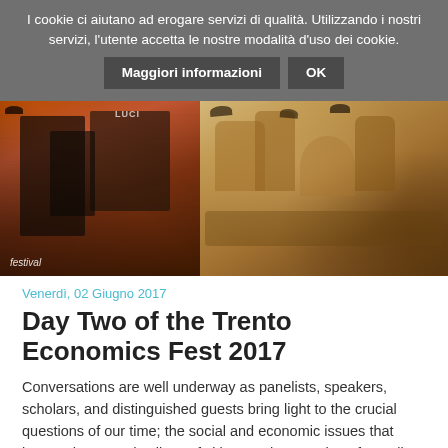I cookie ci aiutano ad erogare servizi di qualità. Utilizzando i nostri servizi, l'utente accetta le nostre modalità d'uso dei cookie. Maggiori informazioni OK
[Figure (photo): Hero image showing a collage: left side features festival promotional posters with warm orange/red tones and a figure silhouette with 'festival' text; right side shows baroque stone sculptures/carvings in golden-brown tones.]
Venerdì, 02 Giugno 2017
Day Two of the Trento Economics Fest 2017
Conversations are well underway as panelists, speakers, scholars, and distinguished guests bring light to the crucial questions of our time; the social and economic issues that impact the everyday lives of citizens. The question of equality in the access to health services becomes an ethical...
LEGGI